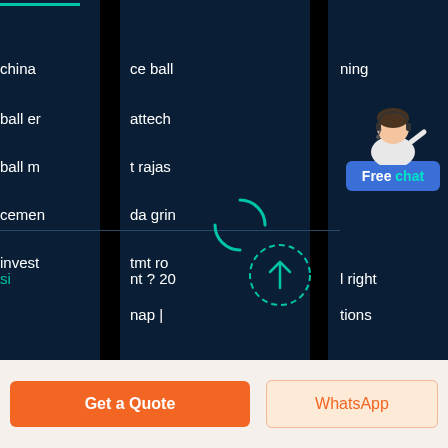[Figure (screenshot): Mobile website screenshot showing a dark-themed search results page with partially visible text entries in multiple columns, a loading spinner, a 'Free chat' agent widget, a dashed circle scroll-up icon, and bottom navigation buttons 'Get a Quote' and 'WhatsApp'.]
china
ball er
ball m
cemen
invest
ce ball
attech
t rajas
da grin
tmt ro
ning
si
nt ? 20
l right
nap |
tions
Free chat
Get a Quote
WhatsApp